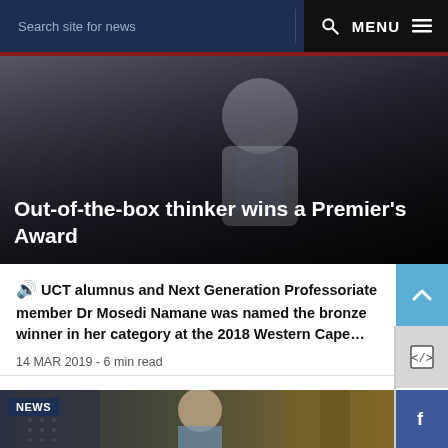Search site for news   🔍  MENU ≡
[Figure (photo): Hero image of a person in a white coat (medical/academic), with dark overlay. Title overlaid: 'Out-of-the-box thinker wins a Premier's Award']
Out-of-the-box thinker wins a Premier's Award
🔊 UCT alumnus and Next Generation Professoriate member Dr Mosedi Namane was named the bronze winner in her category at the 2018 Western Cape…
14 MAR 2019 - 6 min read
[Figure (photo): NEWS badge visible. Photo of a young man with short hair, in a blue shirt, standing in front of a modern architectural structure with perforated metal panels and warm golden tones in the background.]